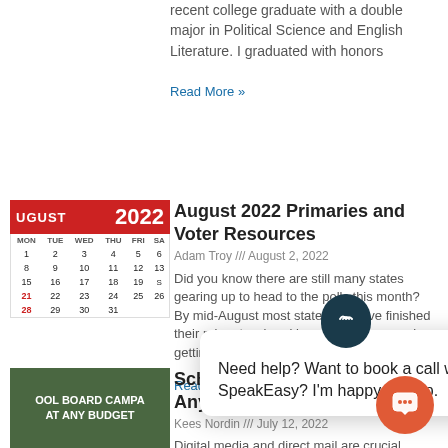recent college graduate with a double major in Political Science and English Literature. I graduated with honors
Read More »
[Figure (photo): August 2022 calendar with red header showing AUGUST and 2022]
August 2022 Primaries and Voter Resources
Adam Troy /// August 2, 2022
Did you know there are still many states gearing up to head to the polls this month? By mid-August most states will have finished their pri... breaking... giving y... in gettin...
Read Mo...
[Figure (screenshot): Chat popup widget with dark circular icon showing audio/sound waves and message: Need help? Want to book a call with SpeakEasy? I'm happy to help.]
[Figure (photo): Green chalkboard image with text SCHOOL BOARD CAMPAIGNS AT ANY BUDGET]
School Board Campaigns at Any Budget
Kees Nordin /// July 12, 2022
Digital media and direct mail are crucial